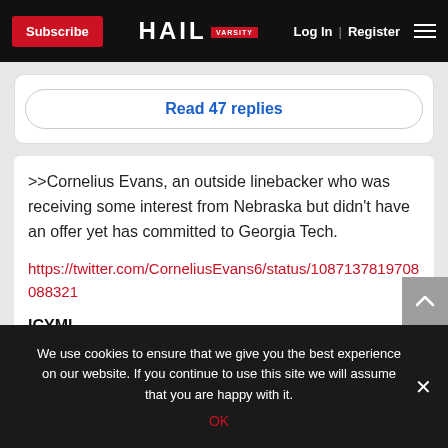Subscribe | HAIL VARSITY | Log In | Register
Read 47 replies
>>Cornelius Evans, an outside linebacker who was receiving some interest from Nebraska but didn't have an offer yet has committed to Georgia Tech.
https://twitter.com/CorneliusEvans6/status/1087137819708088321
ICYMI
We use cookies to ensure that we give you the best experience on our website. If you continue to use this site we will assume that you are happy with it.
OK